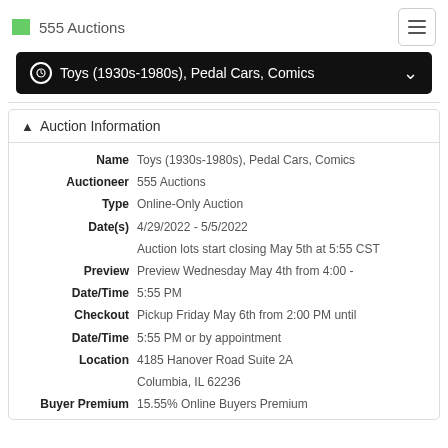555 Auctions
Toys (1930s-1980s), Pedal Cars, Comics
Auction Information
| Field | Value |
| --- | --- |
| Name | Toys (1930s-1980s), Pedal Cars, Comics |
| Auctioneer | 555 Auctions |
| Type | Online-Only Auction |
| Date(s) | 4/29/2022 - 5/5/2022 |
|  | Auction lots start closing May 5th at 5:55 CST |
| Preview Date/Time | Preview Wednesday May 4th from 4:00 - 5:55 PM |
| Checkout Date/Time | Pickup Friday May 6th from 2:00 PM until 5:55 PM or by appointment |
| Location | 4185 Hanover Road Suite 2A
Columbia, IL 62236 |
| Buyer Premium | 15.55% Online Buyers Premium |